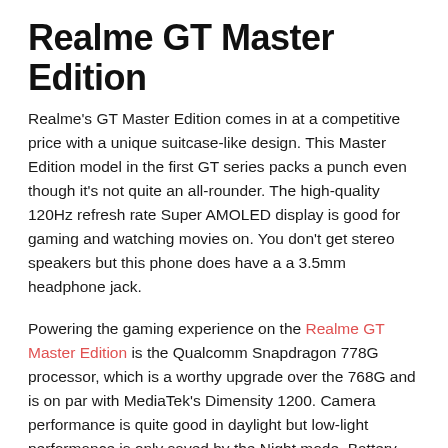Realme GT Master Edition
Realme's GT Master Edition comes in at a competitive price with a unique suitcase-like design. This Master Edition model in the first GT series packs a punch even though it's not quite an all-rounder. The high-quality 120Hz refresh rate Super AMOLED display is good for gaming and watching movies on. You don't get stereo speakers but this phone does have a a 3.5mm headphone jack.
Powering the gaming experience on the Realme GT Master Edition is the Qualcomm Snapdragon 778G processor, which is a worthy upgrade over the 768G and is on par with MediaTek's Dimensity 1200. Camera performance is quite good in daylight but low-light performance is only saved by the Night mode. Battery